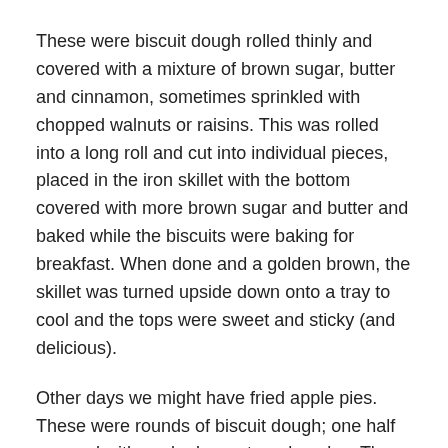These were biscuit dough rolled thinly and covered with a mixture of brown sugar, butter and cinnamon, sometimes sprinkled with chopped walnuts or raisins. This was rolled into a long roll and cut into individual pieces, placed in the iron skillet with the bottom covered with more brown sugar and butter and baked while the biscuits were baking for breakfast. When done and a golden brown, the skillet was turned upside down onto a tray to cool and the tops were sweet and sticky (and delicious).
Other days we might have fried apple pies. These were rounds of biscuit dough; one half covered with cooked sweetened apples. The other half of dough was turned over to make a half moon and fried. I can taste them now.
Later when we were 9 or 10 years old, we helped Papa cultivate the fields of bird eye beans, corn and potatoes which were coming up about the time school let out for the summer. Hoeing corn on a large steep hill was not one of my favorite